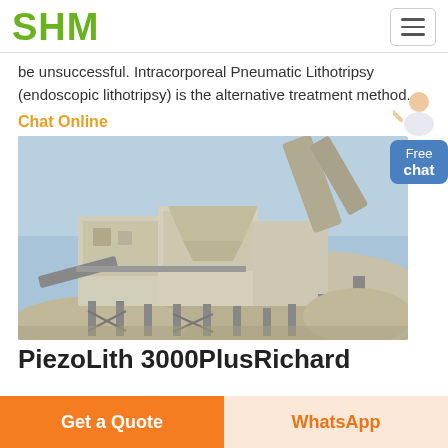SHM
be unsuccessful. Intracorporeal Pneumatic Lithotripsy (endoscopic lithotripsy) is the alternative treatment method.
Chat Online
[Figure (photo): Industrial stone crushing or mining equipment plant with large machinery, conveyor belts, and a pile of crushed rock/aggregate in an outdoor setting.]
PiezoLith 3000PlusRichard
Get a Quote
WhatsApp